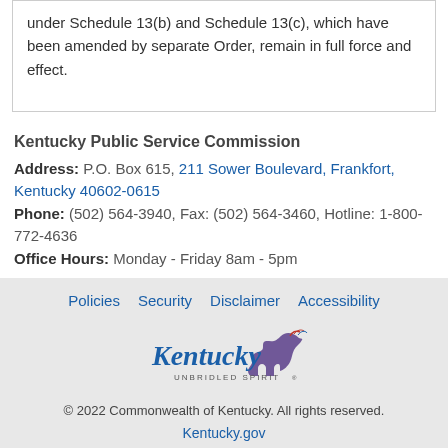under Schedule 13(b) and Schedule 13(c), which have been amended by separate Order, remain in full force and effect.
Kentucky Public Service Commission
Address: P.O. Box 615, 211 Sower Boulevard, Frankfort, Kentucky 40602-0615
Phone: (502) 564-3940, Fax: (502) 564-3460, Hotline: 1-800-772-4636
Office Hours: Monday - Friday 8am - 5pm
Policies | Security | Disclaimer | Accessibility
© 2022 Commonwealth of Kentucky. All rights reserved.
Kentucky.gov